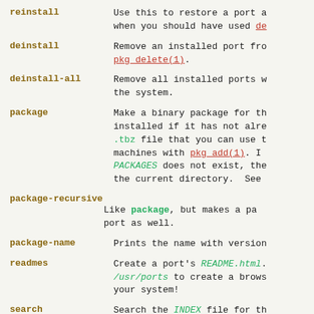reinstall — Use this to restore a port after when you should have used de...
deinstall — Remove an installed port fro... pkg_delete(1).
deinstall-all — Remove all installed ports w... the system.
package — Make a binary package for th... installed if it has not alre... .tbz file that you can use t... machines with pkg_add(1). I... PACKAGES does not exist, the... the current directory. See
package-recursive — Like package, but makes a pa... port as well.
package-name — Prints the name with version...
readmes — Create a port's README.html. /usr/ports to create a brows... your system!
search — Search the INDEX file for th...